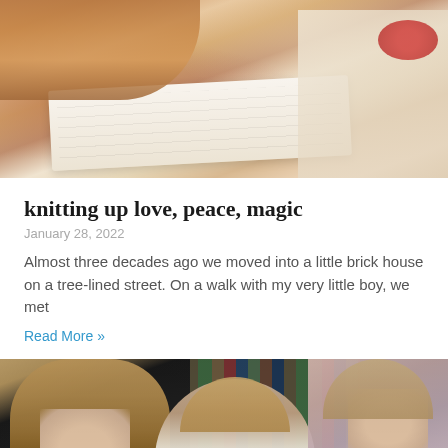[Figure (photo): Top photo showing a person reading a book, wearing a sweater with decorative pattern, photographed from above]
knitting up love, peace, magic
January 28, 2022
Almost three decades ago we moved into a little brick house on a tree-lined street. On a walk with my very little boy, we met
Read More »
[Figure (photo): Bottom photo showing two young women and a toddler in red overalls looking at something, with a blue bookshelf in the background]